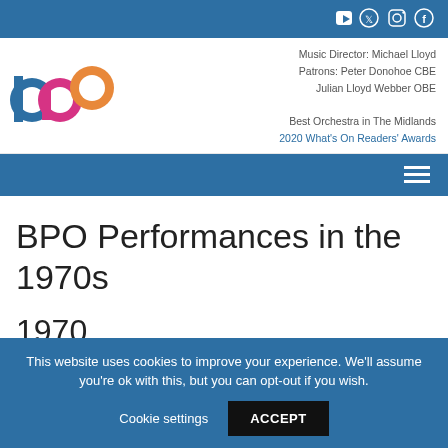Social media icons: YouTube, Twitter, Instagram, Facebook
[Figure (logo): BPO logo with three interlocking circles - b in blue, p in pink/magenta, o in orange]
Music Director: Michael Lloyd
Patrons: Peter Donohoe CBE
Julian Lloyd Webber OBE
Best Orchestra in The Midlands
2020 What's On Readers' Awards
BPO Performances in the 1970s
1970
This website uses cookies to improve your experience. We'll assume you're ok with this, but you can opt-out if you wish.
Cookie settings  ACCEPT